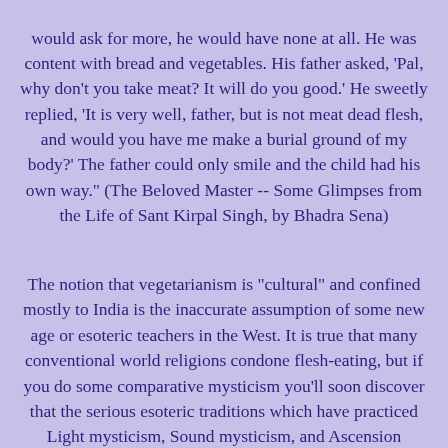would ask for more, he would have none at all. He was content with bread and vegetables. His father asked, 'Pal, why don't you take meat? It will do you good.' He sweetly replied, 'It is very well, father, but is not meat dead flesh, and would you have me make a burial ground of my body?' The father could only smile and the child had his own way." (The Beloved Master -- Some Glimpses from the Life of Sant Kirpal Singh, by Bhadra Sena)
The notion that vegetarianism is "cultural" and confined mostly to India is the inaccurate assumption of some new age or esoteric teachers in the West. It is true that many conventional world religions condone flesh-eating, but if you do some comparative mysticism you'll soon discover that the serious esoteric traditions which have practiced Light mysticism, Sound mysticism, and Ascension mysticism through higher planes of heavens are all in agreement about the need for contemplative mystics to abstain from the flesh. The list of Western vegetarian paths